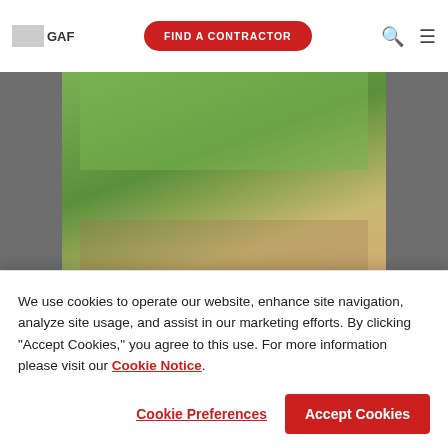GAF | FIND A CONTRACTOR
[Figure (photo): Family photo with couple, two children, and a dog in a sunflower field. Master Elite® badge overlay in bottom right corner.]
The Way Construction
We use cookies to operate our website, enhance site navigation, analyze site usage, and assist in our marketing efforts. By clicking "Accept Cookies," you agree to this use. For more information please visit our Cookie Notice.
Cookie Preferences
Accept Cookies